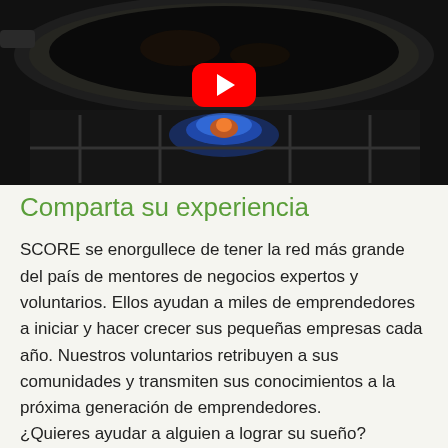[Figure (photo): A dark cooking pan on a gas stove with blue flames visible, shot from above. A red YouTube play button overlay is centered in the upper portion of the image.]
Comparta su experiencia
SCORE se enorgullece de tener la red más grande del país de mentores de negocios expertos y voluntarios. Ellos ayudan a miles de emprendedores a iniciar y hacer crecer sus pequeñas empresas cada año. Nuestros voluntarios retribuyen a sus comunidades y transmiten sus conocimientos a la próxima generación de emprendedores.
¿Quieres ayudar a alguien a lograr su sueño?